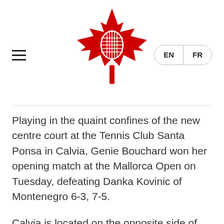[Figure (logo): Tennis Canada logo — red maple leaf with a tennis racket inside it]
Playing in the quaint confines of the new centre court at the Tennis Club Santa Ponsa in Calvia, Genie Bouchard won her opening match at the Mallorca Open on Tuesday, defeating Danka Kovinic of Montenegro 6-3, 7-5.
Calvia is located on the opposite side of the Balearic island from Rafael Nadal's hometown of Manacor.
Bouchard started well against the No. 53-ranked Kovinic, taking a 3-0 lead and maintaining